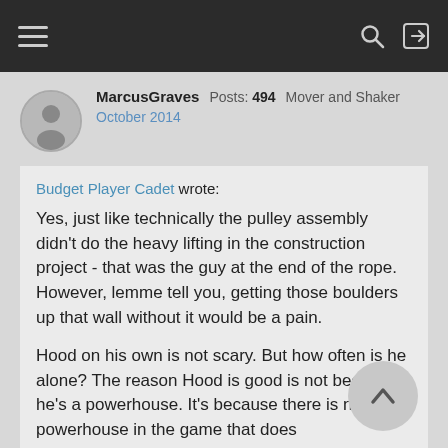Navigation bar with hamburger menu, search icon, and login icon
MarcusGraves  Posts: 494  Mover and Shaker  October 2014
Budget Player Cadet wrote:

Yes, just like technically the pulley assembly didn't do the heavy lifting in the construction project - that was the guy at the end of the rope. However, lemme tell you, getting those boulders up that wall without it would be a pain.

Hood on his own is not scary. But how often is he alone? The reason Hood is good is not because he's a powerhouse. It's because there is not a powerhouse in the game that does